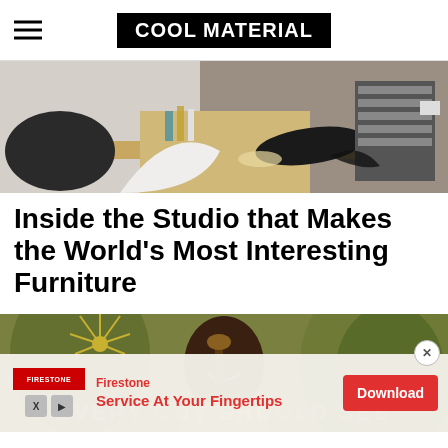COOL MATERIAL
[Figure (photo): Workshop or studio interior with tools, skateboard deck, electronics and various equipment on workbenches]
Inside the Studio that Makes the World’s Most Interesting Furniture
[Figure (photo): Person smiling and holding a decorative item among tropical plants]
Firestone Service At Your Fingertips Download (advertisement)